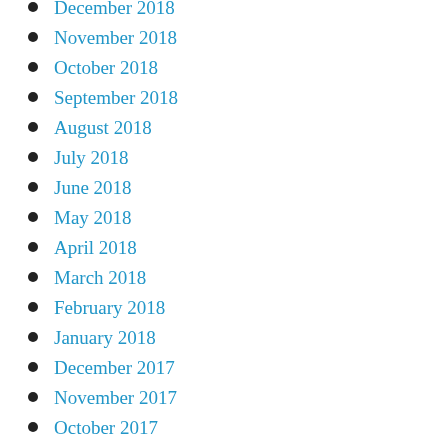December 2018
November 2018
October 2018
September 2018
August 2018
July 2018
June 2018
May 2018
April 2018
March 2018
February 2018
January 2018
December 2017
November 2017
October 2017
September 2017
August 2017